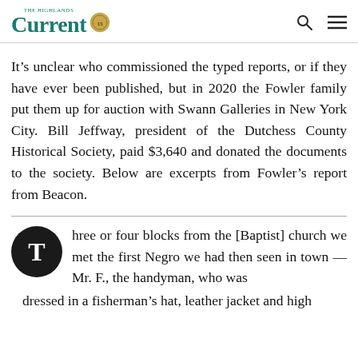The Highlands Current
It’s unclear who commissioned the typed reports, or if they have ever been published, but in 2020 the Fowler family put them up for auction with Swann Galleries in New York City. Bill Jeffway, president of the Dutchess County Historical Society, paid $3,640 and donated the documents to the society. Below are excerpts from Fowler’s report from Beacon.
Three or four blocks from the [Baptist] church we met the first Negro we had then seen in town — Mr. F., the handyman, who was dressed in a fisherman’s hat, leather jacket and high